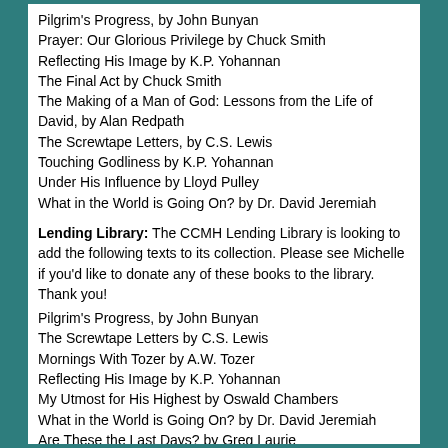Pilgrim's Progress, by John Bunyan
Prayer:  Our Glorious Privilege by Chuck Smith
Reflecting His Image by K.P. Yohannan
The Final Act by Chuck Smith
The Making of a Man of God: Lessons from the Life of David, by Alan Redpath
The Screwtape Letters, by C.S. Lewis
Touching Godliness by K.P. Yohannan
Under His Influence by Lloyd Pulley
What in the World is Going On? by Dr. David Jeremiah
Lending Library:  The CCMH Lending Library is looking to add the following texts to its collection.  Please see Michelle if you'd like to donate any of these books to the library.  Thank you!
Pilgrim's Progress, by John Bunyan
The Screwtape Letters by C.S. Lewis
Mornings With Tozer by A.W. Tozer
Reflecting His Image by K.P. Yohannan
My Utmost for His Highest by Oswald Chambers
What in the World is Going On? by Dr. David Jeremiah
Are These the Last Days? by Greg Laurie